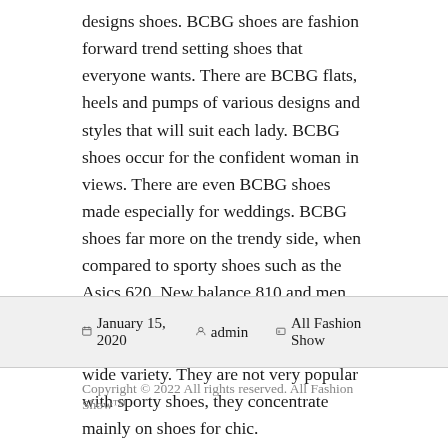designs shoes. BCBG shoes are fashion forward trend setting shoes that everyone wants. There are BCBG flats, heels and pumps of various designs and styles that will suit each lady. BCBG shoes occur for the confident woman in views. There are even BCBG shoes made especially for weddings. BCBG shoes far more on the trendy side, when compared to sporty shoes such as the Asics 620, New balance 810 and men running footwear. However, they also include sneakers associated with design wide variety. They are not very popular with sporty shoes, they concentrate mainly on shoes for chic.
January 15, 2020  admin  All Fashion Show
Copyright © 2022 All rights reserved. All Fashion Show™